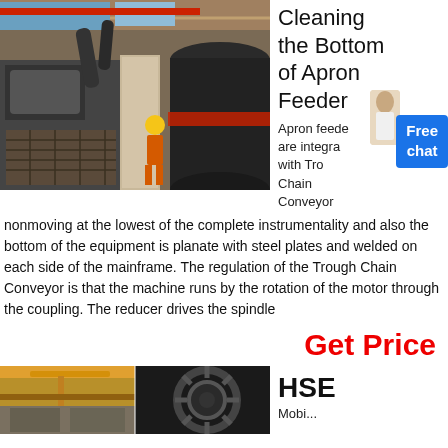[Figure (photo): Industrial facility interior showing large cylindrical machinery, worker in orange safety gear and yellow hard hat, concrete pillar, and large dark storage tanks.]
Cleaning the Bottom of Apron Feeder
Apron feeders are integrated with Trough Chain Conveyor
nonmoving at the lowest of the complete instrumentality and also the bottom of the equipment is planate with steel plates and welded on each side of the mainframe. The regulation of the Trough Chain Conveyor is that the machine runs by the rotation of the motor through the coupling. The reducer drives the spindle
Get Price
[Figure (photo): Two industrial images side by side: left shows an overhead crane in a factory; right shows a large gear or sprocket wheel against a dark background.]
HSE
Mobi...